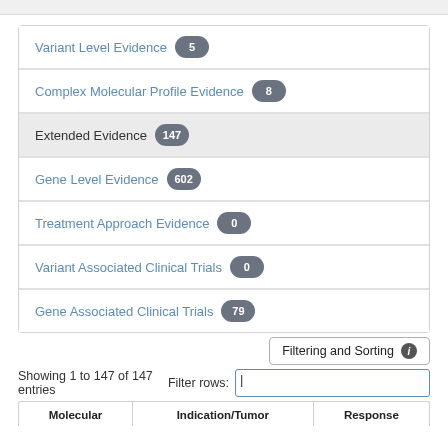Variant Level Evidence 5
Complex Molecular Profile Evidence 8
Extended Evidence 147
Gene Level Evidence 602
Treatment Approach Evidence 0
Variant Associated Clinical Trials 0
Gene Associated Clinical Trials 79
Filtering and Sorting
Showing 1 to 147 of 147 entries  Filter rows:
| Molecular | Indication/Tumor | Response |
| --- | --- | --- |